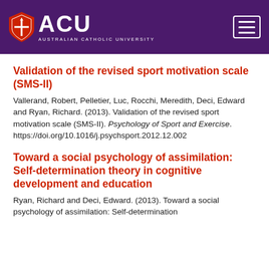ACU — Australian Catholic University
Validation of the revised sport motivation scale (SMS-II)
Vallerand, Robert, Pelletier, Luc, Rocchi, Meredith, Deci, Edward and Ryan, Richard. (2013). Validation of the revised sport motivation scale (SMS-II). Psychology of Sport and Exercise. https://doi.org/10.1016/j.psychsport.2012.12.002
Toward a social psychology of assimilation: Self-determination theory in cognitive development and education
Ryan, Richard and Deci, Edward. (2013). Toward a social psychology of assimilation: Self-determination